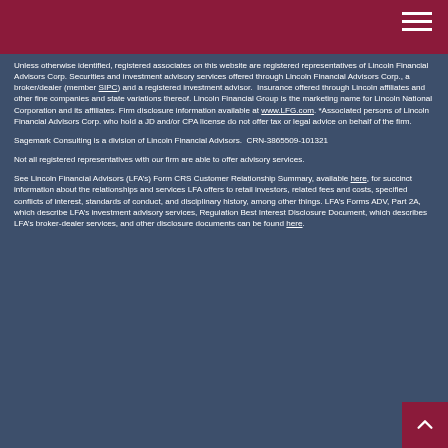Unless otherwise identified, registered associates on this website are registered representatives of Lincoln Financial Advisors Corp. Securities and investment advisory services offered through Lincoln Financial Advisors Corp., a broker/dealer (member SIPC) and a registered investment advisor.  Insurance offered through Lincoln affiliates and other fine companies and state variations thereof. Lincoln Financial Group is the marketing name for Lincoln National Corporation and its affiliates. Firm disclosure information available at www.LFG.com. *Associated persons of Lincoln Financial Advisors Corp. who hold a JD and/or CPA license do not offer tax or legal advice on behalf of the firm.
Sagemark Consulting is a division of Lincoln Financial Advisors.  CRN-3865509-101321
Not all registered representatives with our firm are able to offer advisory services.
See Lincoln Financial Advisors (LFA’s) Form CRS Customer Relationship Summary, available here, for succinct information about the relationships and services LFA offers to retail investors, related fees and costs, specified conflicts of interest, standards of conduct, and disciplinary history, among other things. LFA’s Forms ADV, Part 2A, which describe LFA’s investment advisory services, Regulation Best Interest Disclosure Document, which describes LFA’s broker-dealer services, and other disclosure documents can be found here.